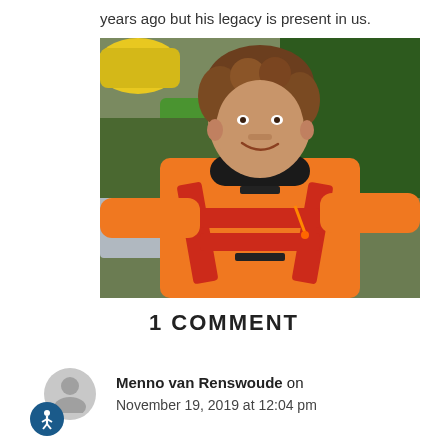years ago but his legacy is present in us.
[Figure (photo): Man wearing an orange and black kayaking drysuit with arms spread wide, smiling, outdoors near vehicles and trees. Yellow kayak visible in background.]
1 COMMENT
Menno van Renswoude on November 19, 2019 at 12:04 pm